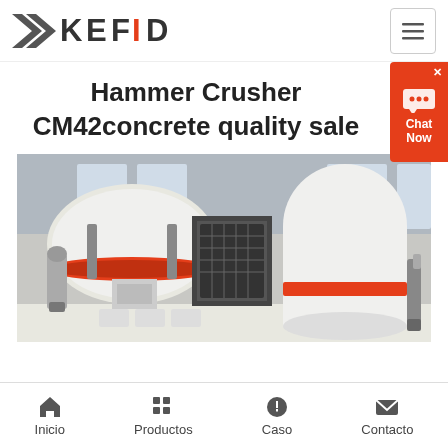KEFID
Hammer Crusher CM42concrete quality sale
[Figure (photo): Industrial hammer crusher / cone crusher machinery in a factory setting, white and red colored heavy equipment]
Inicio  Productos  Caso  Contacto